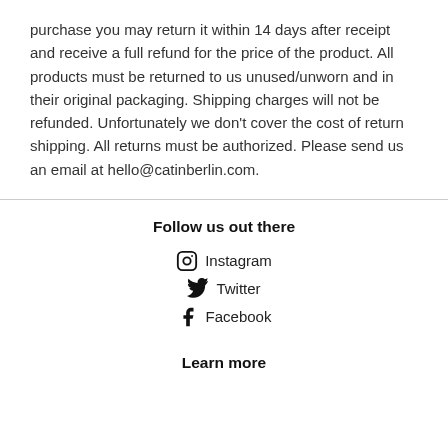purchase you may return it within 14 days after receipt and receive a full refund for the price of the product. All products must be returned to us unused/unworn and in their original packaging. Shipping charges will not be refunded. Unfortunately we don't cover the cost of return shipping. All returns must be authorized. Please send us an email at hello@catinberlin.com.
Follow us out there
Instagram
Twitter
Facebook
Learn more